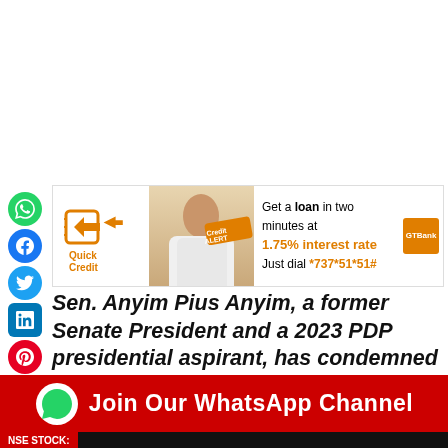[Figure (infographic): Quick Credit / Credit Alert loan advertisement banner with woman photo and GTBank logo. Text: Get a loan in two minutes at 1.75% interest rate. Just dial *737*51*51#]
Sen. Anyim Pius Anyim, a former Senate President and a 2023 PDP presidential aspirant, has condemned the attack on a Kaduna-bound train on Monday, describing it as 'barbaric and inhumane'.
He made the condemnation on Tuesday in Abuja in a
[Figure (infographic): Red banner: Join Our WhatsApp Channel with WhatsApp icon]
NSE STOCK: